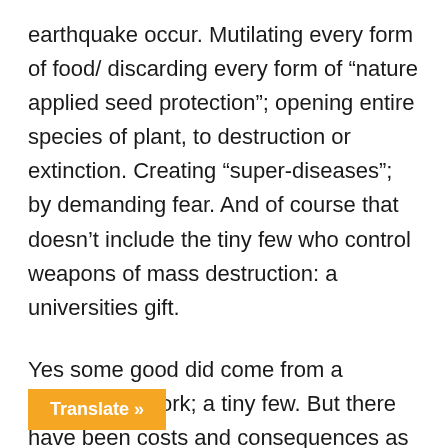earthquake occur. Mutilating every form of food/ discarding every form of “nature applied seed protection”; opening entire species of plant, to destruction or extinction. Creating “super-diseases”; by demanding fear. And of course that doesn’t include the tiny few who control weapons of mass destruction: a universities gift.
Yes some good did come from a universities work; a tiny few. But there have been costs and consequences as well as benefits; and with a population explosion ready to defeat the world itself, with too many humans/ everything is under attack.
have become a disaster; even an